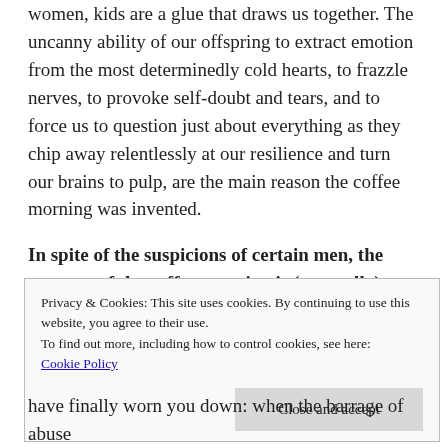women, kids are a glue that draws us together. The uncanny ability of our offspring to extract emotion from the most determinedly cold hearts, to frazzle nerves, to provoke self-doubt and tears, and to force us to question just about everything as they chip away relentlessly at our resilience and turn our brains to pulp, are the main reason the coffee morning was invented.
In spite of the suspicions of certain men, the purpose of the coffee morning is (generally) not to discuss the latest fashions, the most energy-efficient washing machine, or the last time we had an orgasm. Coffee
Privacy & Cookies: This site uses cookies. By continuing to use this website, you agree to their use.
To find out more, including how to control cookies, see here:
Cookie Policy
Close and accept
have finally worn you down: when the barrage of abuse